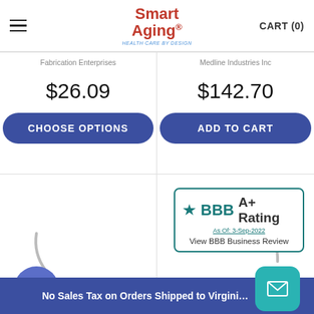Smart Aging® HEALTH CARE BY DESIGN | CART (0)
Fabrication Enterprises
Medline Industries Inc
$26.09
$142.70
CHOOSE OPTIONS
ADD TO CART
[Figure (other): Loading spinner arc in bottom-left product cell]
[Figure (other): Loading spinner arc in bottom-right product cell]
[Figure (other): BBB A+ Rating badge — As Of: 3-Sep-2022 — View BBB Business Review]
No Sales Tax on Orders Shipped to Virginia...